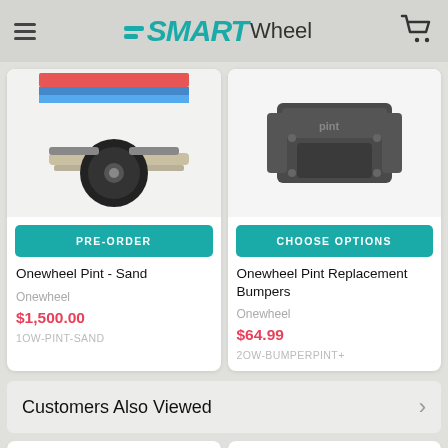SMART Wheel
[Figure (photo): Onewheel Pint - Sand product photo showing the electric skateboard with a single wheel, sand-colored deck, and colorful grip tape]
PRE-ORDER
Onewheel Pint - Sand
Onewheel
$1,500.00
1OW-PINT-SAND
[Figure (photo): Onewheel Pint Replacement Bumpers product photo showing dark grey/black bumper accessory parts]
CHOOSE OPTIONS
Onewheel Pint Replacement Bumpers
Onewheel
$64.99
2OW-BUMPERPINT+
Customers Also Viewed